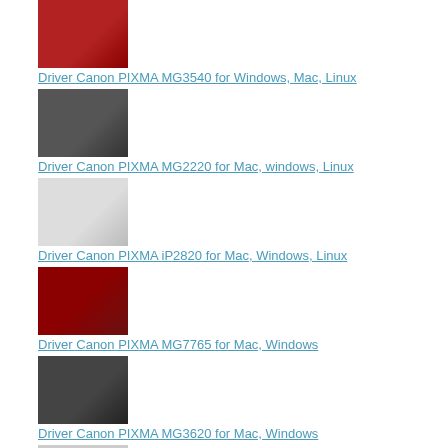Driver Canon PIXMA MG3540 for Windows, Mac, Linux
Driver Canon PIXMA MG2220 for Mac, windows, Linux
Driver Canon PIXMA iP2820 for Mac, Windows, Linux
Driver Canon PIXMA MG7765 for Mac, Windows
Driver Canon PIXMA MG3620 for Mac, Windows
Driver Canon PIXMA MG2522 for Mac, Windows, Linux
Canon PIXMA MP620 Printer Drivers Software